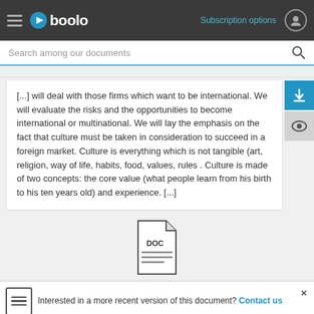Gboolo — Subscription options
[...] will deal with those firms which want to be international. We will evaluate the risks and the opportunities to become international or multinational. We will lay the emphasis on the fact that culture must be taken in consideration to succeed in a foreign market. Culture is everything which is not tangible (art, religion, way of life, habits, food, values, rules . Culture is made of two concepts: the core value (what people learn from his birth to his ten years old) and experience. [...]
[Figure (illustration): DOC file icon — document with folded corner and lines of text]
Interested in a more recent version of this document? Contact us